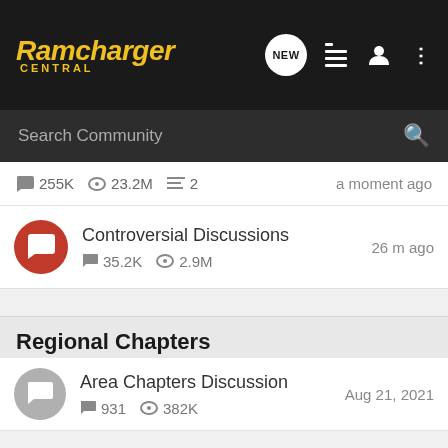Ramcharger Central
255K  23.2M  2  a moment ago
Controversial Discussions  35.2K  2.9M  26 m ago
Regional Chapters
Area Chapters Discussion  931  382K  Aug 21, 2021
Chapters  93.8K  17.2M  44  Aug 26, 2022